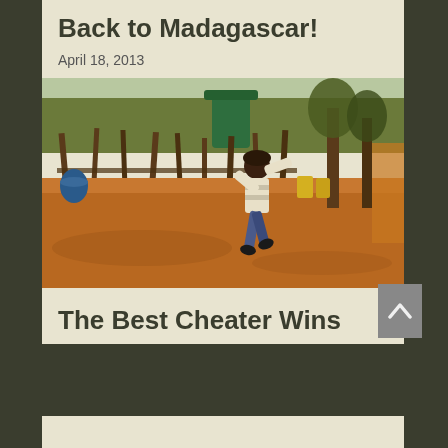Back to Madagascar!
April 18, 2013
[Figure (photo): A child jumping/playing in a rural African village setting with red dirt ground, wooden fence posts, trees, and a green water tank in the background. The child wears a striped sweater and jeans.]
The Best Cheater Wins
May 18, 2010